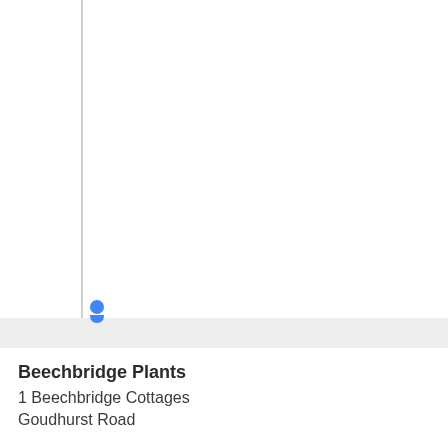[Figure (map): Map view showing a location with a vertical grey line on the left side and a grey horizontal strip at the bottom with a blue map pin marker indicating 'Beechbridge Plants' location.]
Beechbridge Plants
1 Beechbridge Cottages
Goudhurst Road